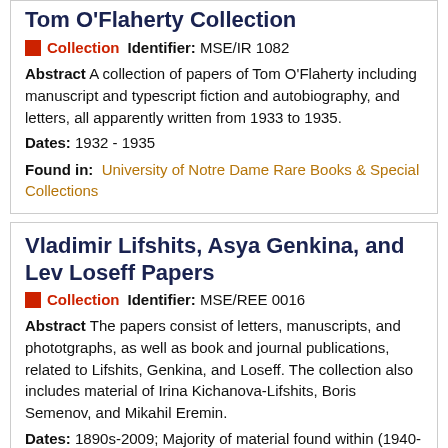Tom O'Flaherty Collection
Collection   Identifier: MSE/IR 1082
Abstract A collection of papers of Tom O'Flaherty including manuscript and typescript fiction and autobiography, and letters, all apparently written from 1933 to 1935.
Dates: 1932 - 1935
Found in:  University of Notre Dame Rare Books & Special Collections
Vladimir Lifshits, Asya Genkina, and Lev Loseff Papers
Collection   Identifier: MSE/REE 0016
Abstract The papers consist of letters, manuscripts, and phototgraphs, as well as book and journal publications, related to Lifshits, Genkina, and Loseff. The collection also includes material of Irina Kichanova-Lifshits, Boris Semenov, and Mikahil Eremin.
Dates: 1890s-2009; Majority of material found within (1940-1990)